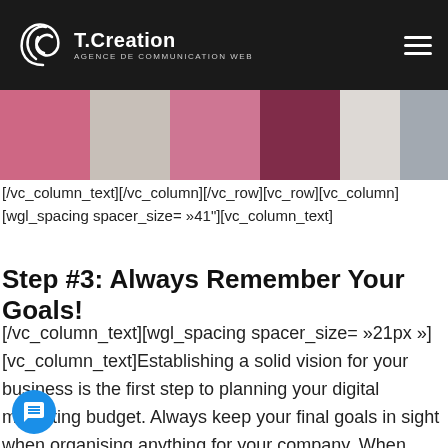T.Creation — AGENCE DE COMMUNICATION WEB
[Figure (photo): Cropped photo showing people in colorful clothing from waist down]
[/vc_column_text][/vc_column][/vc_row][vc_row][vc_column][wgl_spacing spacer_size= »41"][vc_column_text]
Step #3: Always Remember Your Goals!
[/vc_column_text][wgl_spacing spacer_size= »21px »][vc_column_text]Establishing a solid vision for your business is the first step to planning your digital marketing budget. Always keep your final goals in sight when organising anything for your company. When deciding which steps to take next in your business, ask yourself how they will help you achieve the goals you outlined in Step #1. This will ensure that you stay on track and prevent you from spending your budget on anything